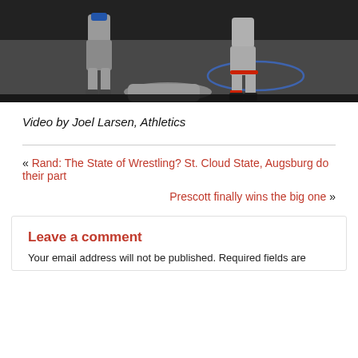[Figure (photo): Wrestling match photo showing two wrestlers on a mat, one in grey uniform and one in darker uniform with red/black accents, action shot during a match]
Video by Joel Larsen, Athletics
« Rand: The State of Wrestling? St. Cloud State, Augsburg do their part
Prescott finally wins the big one »
Leave a comment
Your email address will not be published. Required fields are